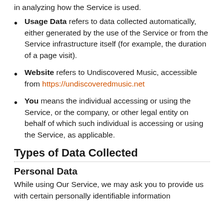in analyzing how the Service is used.
Usage Data refers to data collected automatically, either generated by the use of the Service or from the Service infrastructure itself (for example, the duration of a page visit).
Website refers to Undiscovered Music, accessible from https://undiscoveredmusic.net
You means the individual accessing or using the Service, or the company, or other legal entity on behalf of which such individual is accessing or using the Service, as applicable.
Types of Data Collected
Personal Data
While using Our Service, we may ask you to provide us with certain personally identifiable information